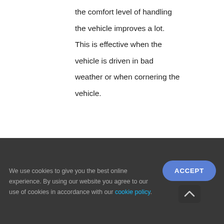the comfort level of handling the vehicle improves a lot. This is effective when the vehicle is driven in bad weather or when cornering the vehicle.
[Figure (other): A blue rounded button partially visible at the bottom of the main content area, with the text 'More' visible.]
We use cookies to give you the best online experience. By using our website you agree to our use of cookies in accordance with our cookie policy.